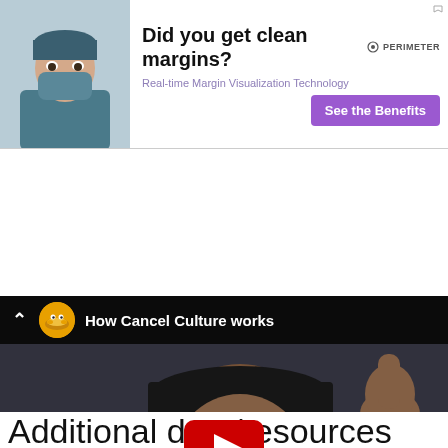[Figure (screenshot): Advertisement banner: image of surgeon in scrubs on left, headline 'Did you get clean margins?' with subtext 'Real-time Margin Visualization Technology', purple 'See the Benefits' button, Perimeter logo top right]
[Figure (screenshot): Embedded YouTube video thumbnail: 'How Cancel Culture works' video with channel icon, man with glasses and cap pointing up finger with YouTube play button overlay and 'Watch on YouTube' bar at bottom]
Additional data/resources